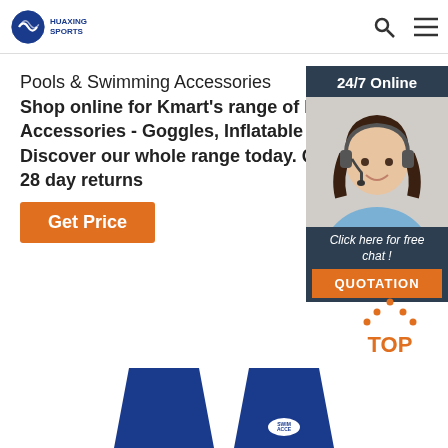HUAXING SPORTS
Pools & Swimming Accessories
Shop online for Kmart's range of Pool Accessories - Goggles, Inflatable Pool Discover our whole range today. Quick 28 day returns
Get Price
[Figure (photo): 24/7 Online customer service representative - woman with headset smiling, with 'Click here for free chat!' text and QUOTATION button]
[Figure (illustration): TOP button with dotted triangle arrows pointing up]
[Figure (photo): Blue swimming gloves/fins product image at bottom]